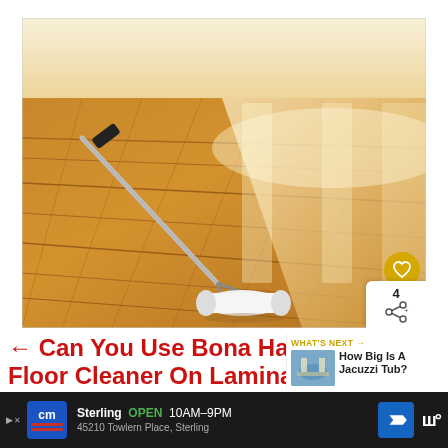[Figure (photo): A paint roller applying glossy finish to a hardwood floor, with reflections of window light visible on the shiny surface]
← Can You Use Bona Hardwood Floor Cleaner On Laminate, Vinyl, And Tile?
WHAT'S NEXT → How Big Is A Jacuzzi Tub?
Sterling OPEN 10AM–9PM 45210 Towlern Place, Sterling